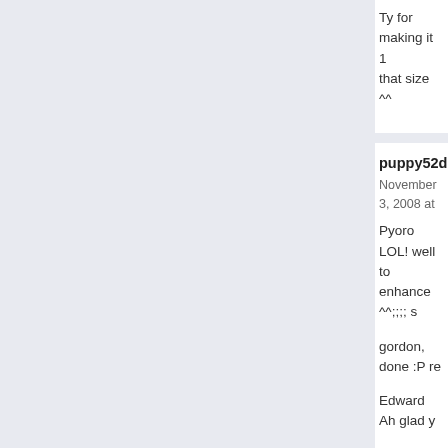Ty for making it 1 that size ^^
puppy52doll says:
November 3, 2008 at

Pyoro LOL! well to enhance ^^;;;; s

gordon, done :P re

Edward Ah glad y

technonewt I thin
puppy52doll says:
November 3, 2008 at

Pyoro LOL! well to enhance ^^;;;; s

gordon, done :P re

Edward Ah glad y